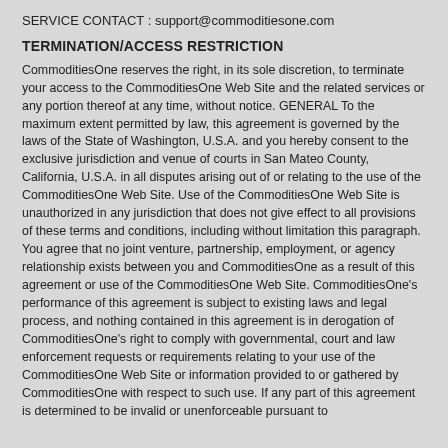SERVICE CONTACT : support@commoditiesone.com
TERMINATION/ACCESS RESTRICTION
CommoditiesOne reserves the right, in its sole discretion, to terminate your access to the CommoditiesOne Web Site and the related services or any portion thereof at any time, without notice. GENERAL To the maximum extent permitted by law, this agreement is governed by the laws of the State of Washington, U.S.A. and you hereby consent to the exclusive jurisdiction and venue of courts in San Mateo County, California, U.S.A. in all disputes arising out of or relating to the use of the CommoditiesOne Web Site. Use of the CommoditiesOne Web Site is unauthorized in any jurisdiction that does not give effect to all provisions of these terms and conditions, including without limitation this paragraph. You agree that no joint venture, partnership, employment, or agency relationship exists between you and CommoditiesOne as a result of this agreement or use of the CommoditiesOne Web Site. CommoditiesOne's performance of this agreement is subject to existing laws and legal process, and nothing contained in this agreement is in derogation of CommoditiesOne's right to comply with governmental, court and law enforcement requests or requirements relating to your use of the CommoditiesOne Web Site or information provided to or gathered by CommoditiesOne with respect to such use. If any part of this agreement is determined to be invalid or unenforceable pursuant to